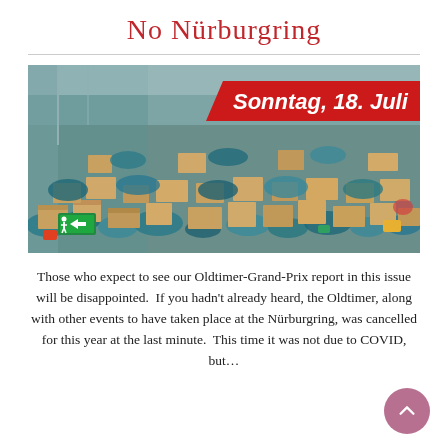No Nürburgring
[Figure (photo): A large indoor space filled with enormous piles of cardboard boxes, teal/blue bags, and various goods and packages covering the entire floor. An overlaid red banner in the upper right reads 'Sonntag, 18. Juli' in bold italic white text.]
Those who expect to see our Oldtimer-Grand-Prix report in this issue will be disappointed.  If you hadn't already heard, the Oldtimer, along with other events to have taken place at the Nürburgring, was cancelled for this year at the last minute.  This time it was not due to COVID, but…